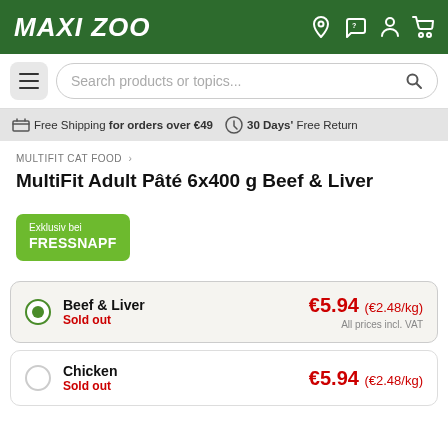MAXI ZOO
Search products or topics...
Free Shipping for orders over €49   30 Days' Free Return
MULTIFIT CAT FOOD ›
MultiFit Adult Pâté 6x400 g Beef & Liver
[Figure (other): Exklusiv bei FRESSNAPF green badge]
Beef & Liver
Sold out
€5.94 (€2.48/kg)
All prices incl. VAT
Chicken
Sold out
€5.94 (€2.48/kg)